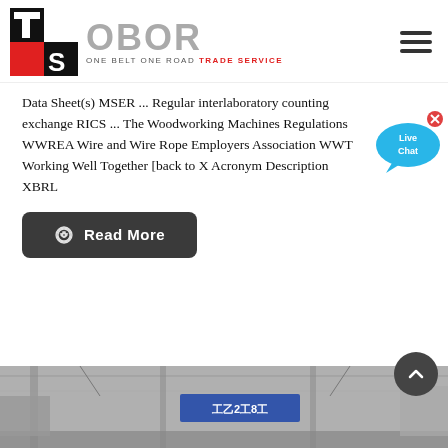[Figure (logo): OBOR Trade Service logo with TS icon (black/red square icon) and 'OBOR ONE BELT ONE ROAD TRADE SERVICE' text]
Data Sheet(s) MSER ... Regular interlaboratory counting exchange RICS ... The Woodworking Machines Regulations WWREA Wire and Wire Rope Employers Association WWT Working Well Together [back to X Acronym Description XBRL
[Figure (other): Live Chat speech bubble widget in blue]
Read More
[Figure (photo): Interior photo of what appears to be a large industrial or trade hall with signs visible]